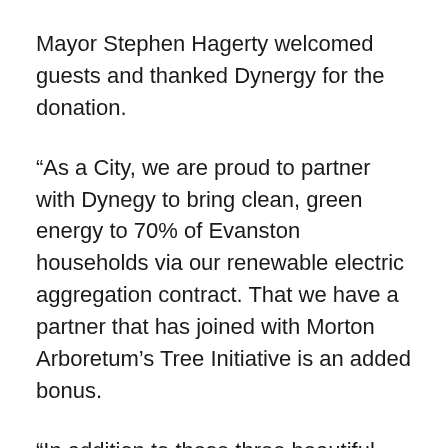Mayor Stephen Hagerty welcomed guests and thanked Dynergy for the donation.
“As a City, we are proud to partner with Dynegy to bring clean, green energy to 70% of Evanston households via our renewable electric aggregation contract. That we have a partner that has joined with Morton Arboretum’s Tree Initiative is an added bonus.
“In addition to these three beautiful trees that will be planted at Raymond Park, the City’s Forestry Division will plant an additional 37 trees around the City. These trees will help support and diversify Evanston’s tree…